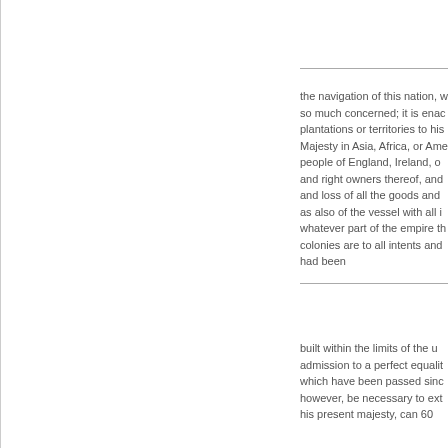the navigation of this nation, w so much concerned; it is enac plantations or territories to his Majesty in Asia, Africa, or Ame people of England, Ireland, o and right owners thereof, and and loss of all the goods and as also of the vessel with all i whatever part of the empire th colonies are to all intents and had been
built within the limits of the u admission to a perfect equalit which have been passed sinc however, be necessary to ext his present majesty, can 60